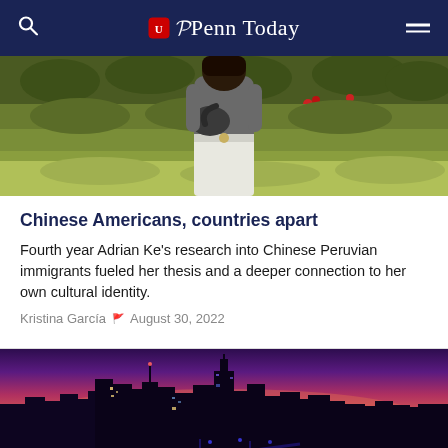Penn Today
[Figure (photo): Person wearing grey top and white pants standing in front of green hedges with red flowers]
Chinese Americans, countries apart
Fourth year Adrian Ke's research into Chinese Peruvian immigrants fueled her thesis and a deeper connection to her own cultural identity.
Kristina García · August 30, 2022
[Figure (photo): Philadelphia city skyline at dusk/night with purple and pink sky and city lights]